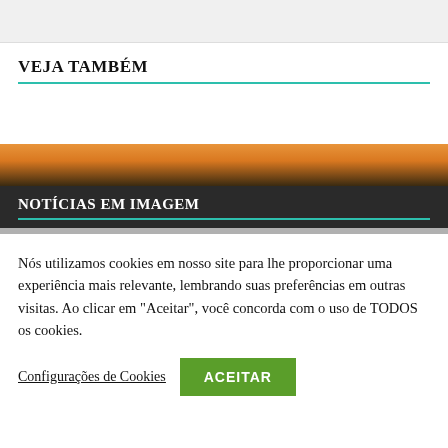[Figure (other): Gray top box, partial content from previous section]
VEJA TAMBÉM
[Figure (photo): Sunset/landscape image banner with orange and dark tones]
NOTÍCIAS EM IMAGEM
Nós utilizamos cookies em nosso site para lhe proporcionar uma experiência mais relevante, lembrando suas preferências em outras visitas. Ao clicar em "Aceitar", você concorda com o uso de TODOS os cookies.
Configurações de Cookies
ACEITAR